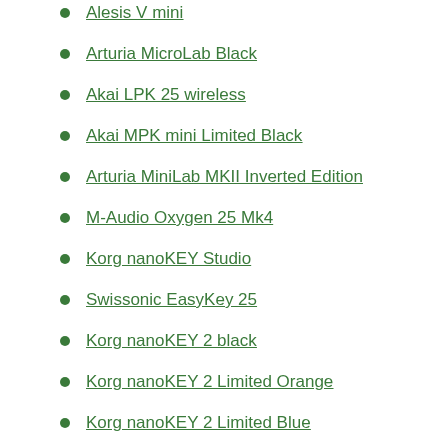Alesis V mini
Arturia MicroLab Black
Akai LPK 25 wireless
Akai MPK mini Limited Black
Arturia MiniLab MKII Inverted Edition
M-Audio Oxygen 25 Mk4
Korg nanoKEY Studio
Swissonic EasyKey 25
Korg nanoKEY 2 black
Korg nanoKEY 2 Limited Orange
Korg nanoKEY 2 Limited Blue